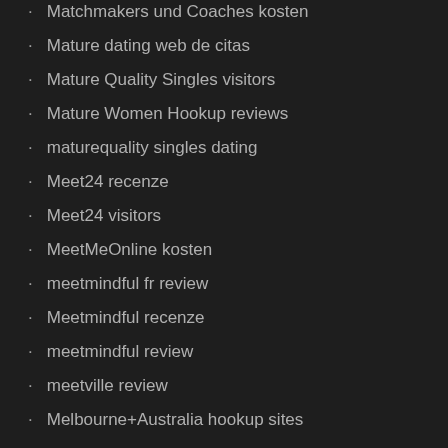Matchmakers und Coaches kosten
Mature dating web de citas
Mature Quality Singles visitors
Mature Women Hookup reviews
maturequality singles dating
Meet24 recenze
Meet24 visitors
MeetMeOnline kosten
meetmindful fr review
Meetmindful recenze
meetmindful review
meetville review
Melbourne+Australia hookup sites